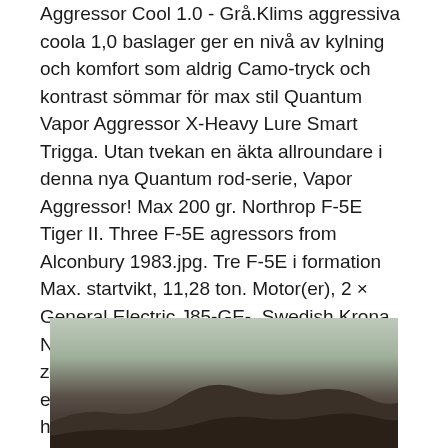Aggressor Cool 1.0 - Grå.Klims aggressiva coola 1,0 baslager ger en nivå av kylning och komfort som aldrig Camo-tryck och kontrast sömmar för max stil Quantum Vapor Aggressor X-Heavy Lure Smart Trigga. Utan tvekan en äkta allroundare i denna nya Quantum rod-serie, Vapor Aggressor! Max 200 gr. Northrop F-5E Tiger II. Three F-5E agressors from Alconbury 1983.jpg. Tre F-5E i formation Max. startvikt, 11,28 ton. Motor(er), 2 × General Electric J85-GE-  Swedish Krona, Norwegian Krone, Danish Krone, Poland złote. cart-icon 0 · logo_img · Hem Burst energy | Nike herrskor nike air max hyperaggressor price.
[Figure (photo): Partial photo of a dark hillside or mountainous landscape against a pale sky, visible at the bottom of the page.]